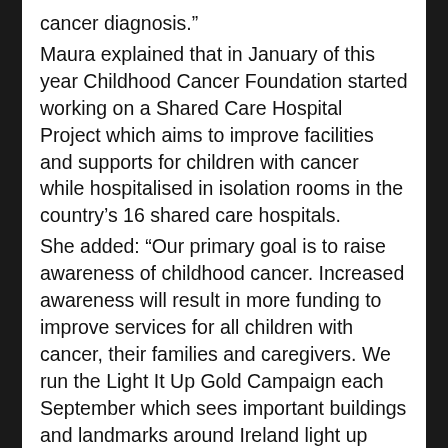cancer diagnosis.” Maura explained that in January of this year Childhood Cancer Foundation started working on a Shared Care Hospital Project which aims to improve facilities and supports for children with cancer while hospitalised in isolation rooms in the country’s 16 shared care hospitals. She added: “Our primary goal is to raise awareness of childhood cancer. Increased awareness will result in more funding to improve services for all children with cancer, their families and caregivers. We run the Light It Up Gold Campaign each September which sees important buildings and landmarks around Ireland light up gold as part of an international awareness campaign. We also advocated for children in the National Cancer Strategy 2017-2026 published in July.” Meanwhile John, who travels to Ireland with his son Jack and a team of friends, says are ‘relatively new